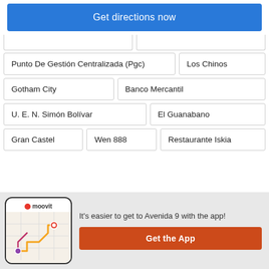Get directions now
Punto De Gestión Centralizada (Pgc)
Los Chinos
Gotham City
Banco Mercantil
U. E. N. Simón Bolívar
El Guanabano
Gran Castel
Wen 888
Restaurante Iskia
It's easier to get to Avenida 9 with the app!
Get the App